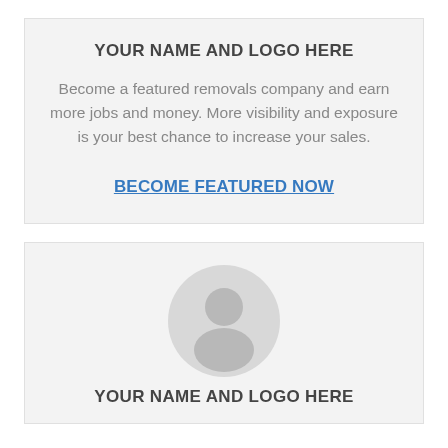YOUR NAME AND LOGO HERE
Become a featured removals company and earn more jobs and money. More visibility and exposure is your best chance to increase your sales.
BECOME FEATURED NOW
[Figure (illustration): Default user avatar placeholder circle with a person silhouette icon in grey]
YOUR NAME AND LOGO HERE